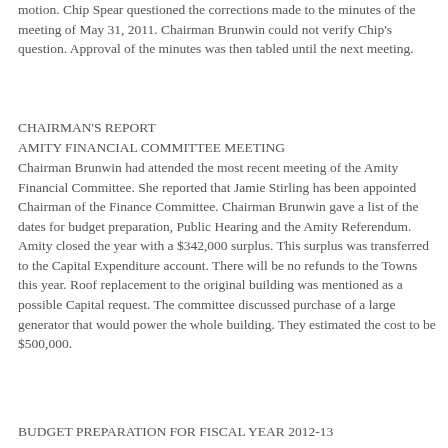motion. Chip Spear questioned the corrections made to the minutes of the meeting of May 31, 2011. Chairman Brunwin could not verify Chip's question. Approval of the minutes was then tabled until the next meeting.
CHAIRMAN'S REPORT
AMITY FINANCIAL COMMITTEE MEETING
Chairman Brunwin had attended the most recent meeting of the Amity Financial Committee. She reported that Jamie Stirling has been appointed Chairman of the Finance Committee. Chairman Brunwin gave a list of the dates for budget preparation, Public Hearing and the Amity Referendum. Amity closed the year with a $342,000 surplus. This surplus was transferred to the Capital Expenditure account. There will be no refunds to the Towns this year. Roof replacement to the original building was mentioned as a possible Capital request. The committee discussed purchase of a large generator that would power the whole building. They estimated the cost to be $500,000.
BUDGET PREPARATION FOR FISCAL YEAR 2012-13